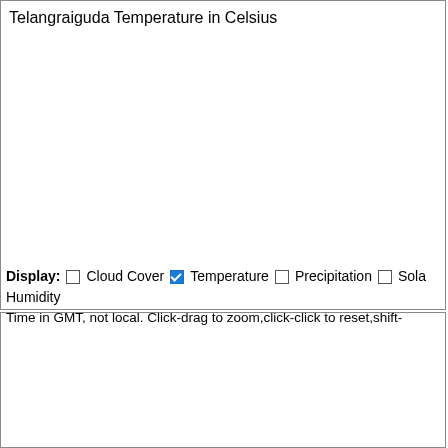Telangraiguda Temperature in Celsius
Display: Cloud Cover Temperature Precipitation Sola Humidity
Time in GMT, not local. Click-drag to zoom,click-click to reset,shift-
Telangraiguda Cloud Cover in Percent